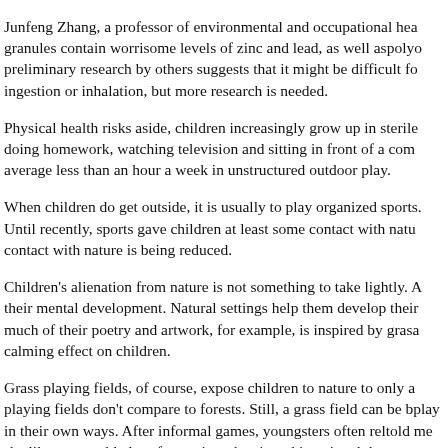Junfeng Zhang, a professor of environmental and occupational health, found that the granules contain worrisome levels of zinc and lead, as well as polycyclic aromatic hydrocarbons; preliminary research by others suggests that it might be difficult for these to enter the body through ingestion or inhalation, but more research is needed.
Physical health risks aside, children increasingly grow up in sterile environments, doing homework, watching television and sitting in front of a computer. Studies show they average less than an hour a week in unstructured outdoor play.
When children do get outside, it is usually to play organized sports. Until recently, sports gave children at least some contact with nature. But even this limited contact with nature is being reduced.
Children's alienation from nature is not something to take lightly. Access to nature is vital to their mental development. Natural settings help them develop their imagination and creativity; much of their poetry and artwork, for example, is inspired by grass, trees and insects. Nature has a calming effect on children.
Grass playing fields, of course, expose children to nature to only a limited degree; grass playing fields don't compare to forests. Still, a grass field can be beneficial to children's outdoor play in their own ways. After informal games, youngsters often relax on the grass. One girl told me she likes to toss blades of grass into the air and imagine they are birds, and lie down in the grass and looking up at the sky.
Lobbyists for the synthetic turf industry claim that it is natural grass fields that require toxic pesticides, herbicides and fertilizers, as well as gas-powered mowers, which can damage the soil and grass, as synthetic surfaces do, but instead adopt safer maintenance procedures.
We've already sacrificed too much earth and vegetation to real-estate development. We need to protect the nature that remains. And we need to do it for our children.
In our increasingly artificial environment, children need much greater access to nature, not less.
William Crain, a professor of psychology at the City College of New York...